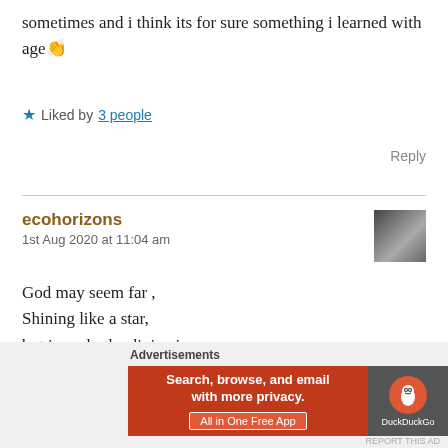sometimes and i think its for sure something i learned with age 👏
★ Liked by 3 people
Reply
ecohorizons
1st Aug 2020 at 11:04 am
God may seem far ,
Shining like a star,
but in real , the divine is so near ,
In the very now here,
Advertisements
Search, browse, and email with more privacy.
All in One Free App
DuckDuckGo